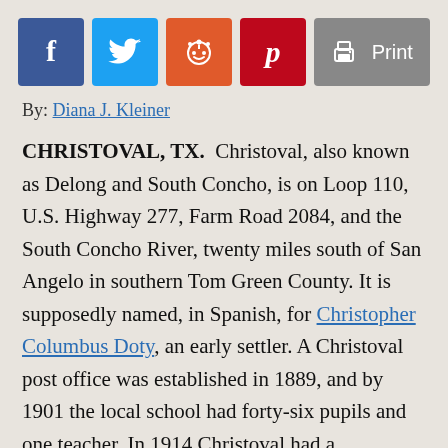[Figure (infographic): Social sharing buttons: Facebook (blue), Twitter (light blue), Reddit (orange-red), Pinterest (dark red), and a Print button (gray) with printer icon]
By: Diana J. Kleiner
CHRISTOVAL, TX. Christoval, also known as Delong and South Concho, is on Loop 110, U.S. Highway 277, Farm Road 2084, and the South Concho River, twenty miles south of San Angelo in southern Tom Green County. It is supposedly named, in Spanish, for Christopher Columbus Doty, an early settler. A Christoval post office was established in 1889, and by 1901 the local school had forty-six pupils and one teacher. In 1914 Christoval had a population of 200, two general stores, and a newspaper, the Christoval Observer. The Panhandle and Santa Fe